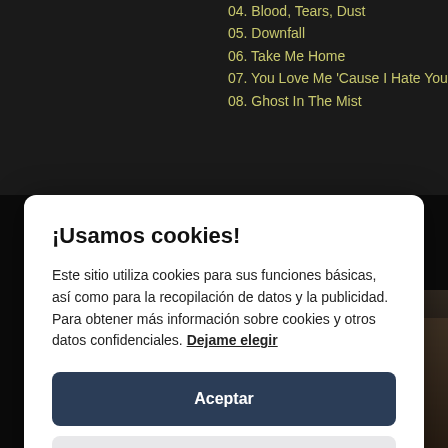[Figure (screenshot): Dark website background showing a music track listing with yellow/gold text listing tracks: 04. Blood, Tears, Dust; 05. Downfall; 06. Take Me Home; 07. You Love Me 'Cause I Hate You; 08. Ghost In The Mist. Bottom portion shows a sepia-toned photo of two silhouetted figures standing near a brick wall.]
¡Usamos cookies!
Este sitio utiliza cookies para sus funciones básicas, así como para la recopilación de datos y la publicidad. Para obtener más información sobre cookies y otros datos confidenciales. Dejame elegir
Aceptar
Close